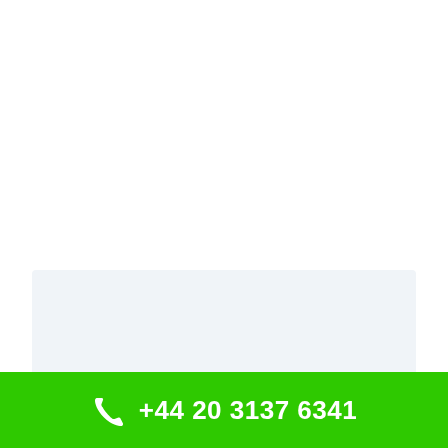What does involve? ......................
+44 20 3137 6341